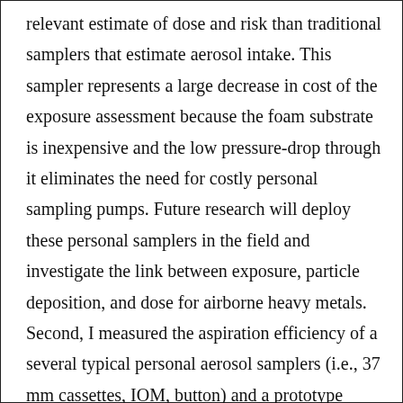relevant estimate of dose and risk than traditional samplers that estimate aerosol intake. This sampler represents a large decrease in cost of the exposure assessment because the foam substrate is inexpensive and the low pressure-drop through it eliminates the need for costly personal sampling pumps. Future research will deploy these personal samplers in the field and investigate the link between exposure, particle deposition, and dose for airborne heavy metals. Second, I measured the aspiration efficiency of a several typical personal aerosol samplers (i.e., 37 mm cassettes, IOM, button) and a prototype